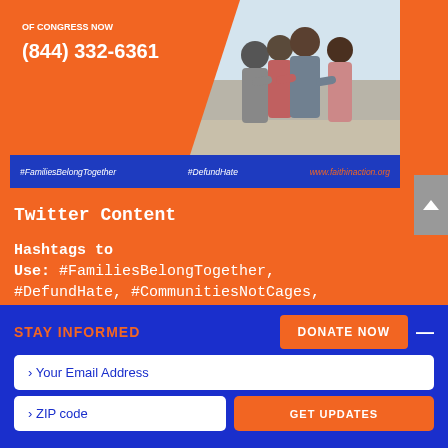[Figure (photo): Orange campaign banner with family silhouette photo, text 'OF CONGRESS NOW (844) 332-6361' on orange overlay, and blue bottom bar with hashtags #FamiliesBelongTogether #DefundHate www.faithinaction.org]
Twitter Content
Hashtags to Use: #FamiliesBelongTogether, #DefundHate, #CommunitiesNotCages, #EndFamilyDetention
STAY INFORMED | DONATE NOW | › Your Email Address | › ZIP code | GET UPDATES